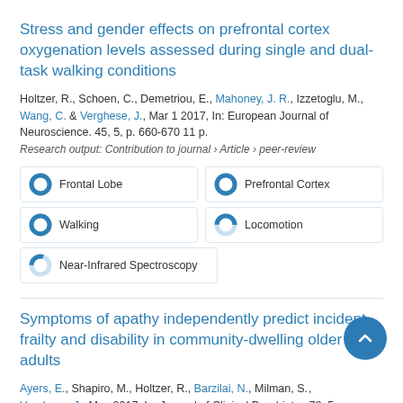Stress and gender effects on prefrontal cortex oxygenation levels assessed during single and dual-task walking conditions
Holtzer, R., Schoen, C., Demetriou, E., Mahoney, J. R., Izzetoglu, M., Wang, C. & Verghese, J., Mar 1 2017, In: European Journal of Neuroscience. 45, 5, p. 660-670 11 p.
Research output: Contribution to journal › Article › peer-review
[Figure (infographic): Donut badge icons for Frontal Lobe (100%), Prefrontal Cortex (100%), Walking (100%), Locomotion (50%), Near-Infrared Spectroscopy (30%)]
Symptoms of apathy independently predict incident frailty and disability in community-dwelling older adults
Ayers, E., Shapiro, M., Holtzer, R., Barzilai, N., Milman, S., Verghese, J., May 2017, In: Journal of Clinical Psychiatry. 78, 5, p.